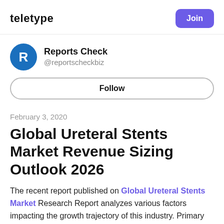Teletype | Join
Reports Check @reportscheckbiz
Follow
February 3, 2020
Global Ureteral Stents Market Revenue Sizing Outlook 2026
The recent report published on Global Ureteral Stents Market Research Report analyzes various factors impacting the growth trajectory of this industry. Primary and secondary research is